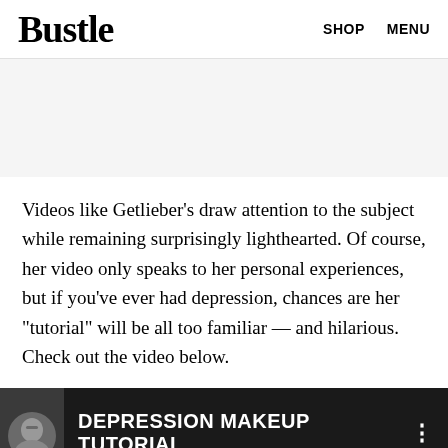Bustle  SHOP  MENU
[Figure (other): Gray advertisement banner placeholder]
Videos like Getlieber's draw attention to the subject while remaining surprisingly lighthearted. Of course, her video only speaks to her personal experiences, but if you've ever had depression, chances are her "tutorial" will be all too familiar — and hilarious. Check out the video below.
[Figure (screenshot): Video thumbnail showing a dark background with a person's avatar and the text 'DEPRESSION MAKEUP TUTORIAL' in white, with a three-dot menu icon on the right.]